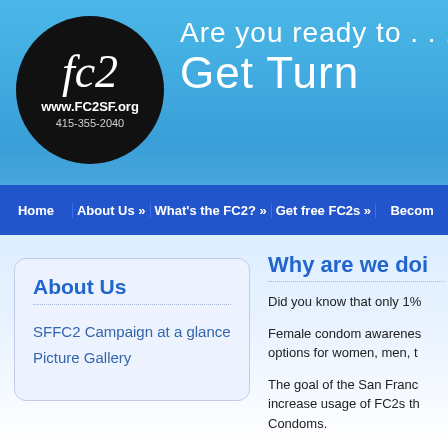[Figure (screenshot): Website header with light blue gradient background, FC2 logo in black oval on left showing 'fc2', 'www.FC2SF.org', '415-355-2040', and handwritten-style white text on right reading 'Are you ready to . . . Get Turn']
Home | About Us » | What's the FC2? » | Get free FC2s » | Becom
About Us
SFFC2 Campaign at a glance
Picture Gallery
Why are we doi
Did you know that only 1%
Female condom awarenes options for women, men, t
The goal of the San Franc increase usage of FC2s th Condoms.
Here are a few statistics: